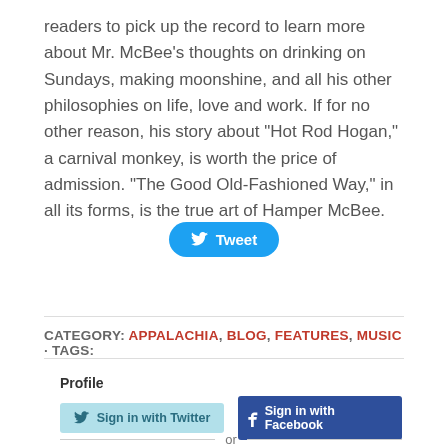readers to pick up the record to learn more about Mr. McBee's thoughts on drinking on Sundays, making moonshine, and all his other philosophies on life, love and work. If for no other reason, his story about "Hot Rod Hogan," a carnival monkey, is worth the price of admission. "The Good Old-Fashioned Way," in all its forms, is the true art of Hamper McBee.
[Figure (other): Tweet button with Twitter bird icon]
CATEGORY: APPALACHIA, BLOG, FEATURES, MUSIC · TAGS:
Profile
[Figure (other): Sign in with Twitter button and Sign in with Facebook button]
or